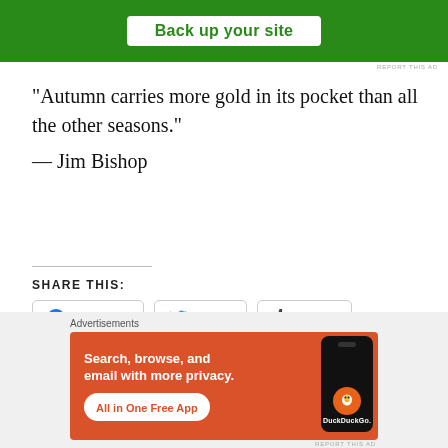[Figure (screenshot): Green advertisement banner with white button reading 'Back up your site']
“Autumn carries more gold in its pocket than all the other seasons.”
— Jim Bishop
SHARE THIS:
Facebook  Twitter  Tumblr
[Figure (screenshot): DuckDuckGo advertisement: 'Search, browse, and email with more privacy. All in One Free App' on orange background with phone image]